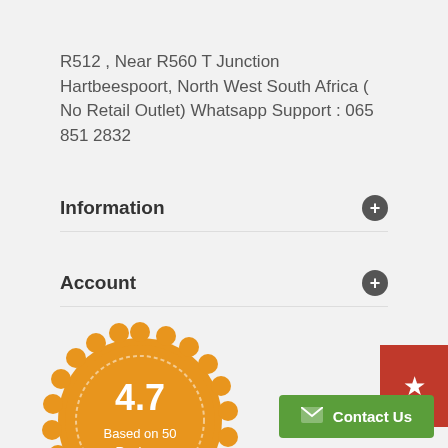R512 , Near R560 T Junction Hartbeespoort, North West South Africa ( No Retail Outlet) Whatsapp Support : 065 851 2832
Information
Account
[Figure (infographic): Orange scalloped badge showing rating 4.7, Based on 50 Reviews, with 4.5 star display below on white banner]
[Figure (other): Red square button with white star icon]
Contact Us